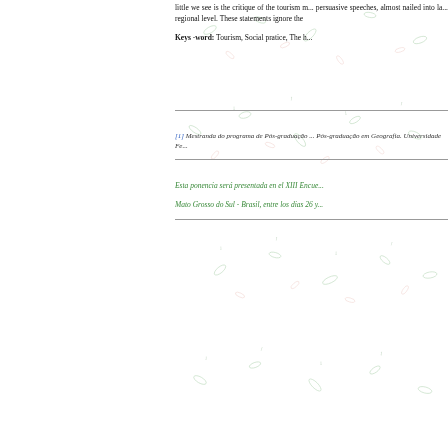little we see is the critique of the tourism m... persuasive speeches, almost nailed into la... regional level. These statements ignore the n...
Keys -word: Tourism, Social pratice, The h...
[1] Mestranda do programa de Pós-graduação ... Pós-graduação em Geografia. Universidade Fe...
Esta ponencia será presentada en el XIII Encue... Mato Grosso do Sul - Brasil, entre los dias 26 y...